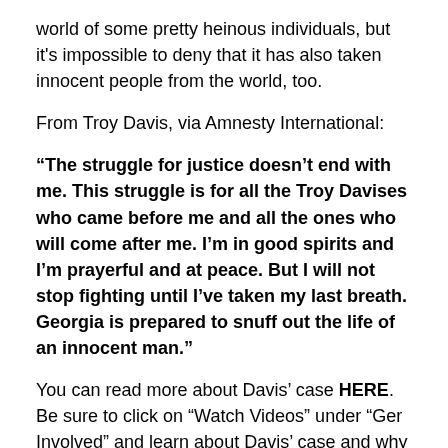world of some pretty heinous individuals, but it's impossible to deny that it has also taken innocent people from the world, too.
From Troy Davis, via Amnesty International:
“The struggle for justice doesn’t end with me. This struggle is for all the Troy Davises who came before me and all the ones who will come after me. I’m in good spirits and I’m prayerful and at peace. But I will not stop fighting until I’ve taken my last breath. Georgia is prepared to snuff out the life of an innocent man.”
You can read more about Davis’ case HERE. Be sure to click on “Watch Videos” under “Ger Involved” and learn about Davis’ case and why there is too much doubt. It will be an completely baffling story to those who have never